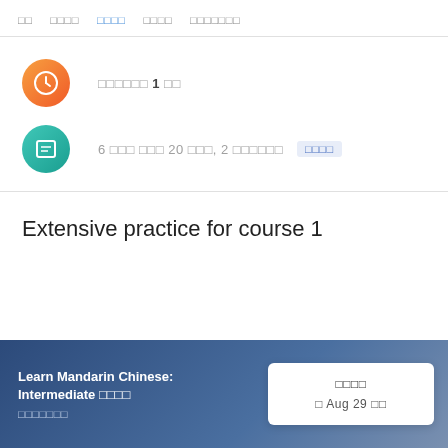□□  □□□□  □□□□  □□□□  □□□□□□□
□□□□□□ 1 □□
6 □□□ □□□ 20 □□□, 2 □□□□□□  □□□□
Extensive practice for course 1
Learn Mandarin Chinese: Intermediate □□□□  □□□□□□□
□□□□  □ Aug 29 □□